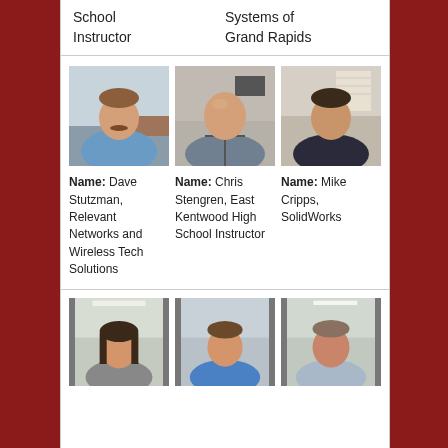School Instructor
Systems of Grand Rapids
[Figure (photo): Photo of Dave Stutzman, man with brown hair and mustache in blue shirt seated at desk]
[Figure (photo): Photo of Chris Stengren, bald man in plaid shirt]
[Figure (photo): Photo of Mike Cripps, man in dark shirt standing]
Name: Dave Stutzman, Relevant Networks and Wireless Tech Solutions
Name: Chris Stengren, East Kentwood High School Instructor
Name: Mike Cripps, SolidWorks
[Figure (photo): Photo of woman with dark hair, smiling]
[Figure (photo): Photo of young man in blue shirt, smiling]
[Figure (photo): Photo of man smiling, in light colored clothing]